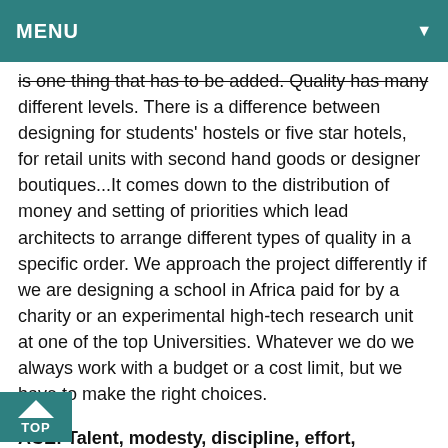MENU
is one thing that has to be added. Quality has many different levels. There is a difference between designing for students' hostels or five star hotels, for retail units with second hand goods or designer boutiques...It comes down to the distribution of money and setting of priorities which lead architects to arrange different types of quality in a specific order. We approach the project differently if we are designing a school in Africa paid for by a charity or an experimental high-tech research unit at one of the top Universities. Whatever we do we always work with a budget or a cost limit, but we have to make the right choices.
ACE: Talent, modesty, discipline, effort, experience, courage, luck... During the ICDC, you presented a roadmap for successful projects. Can you tell us more about this approach in the design approach?
Eva Jiřičná: Some time ago somebody approached me and asked if i could describe a Design Process or simply "How we do it". I have been thinking about it and since an